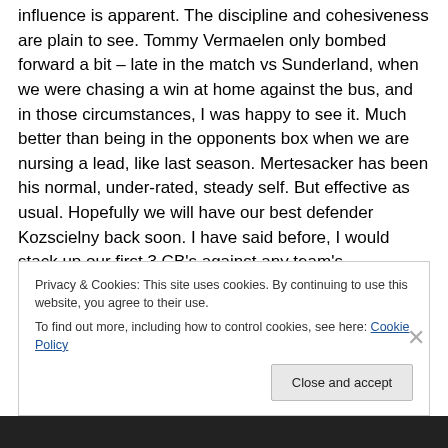influence is apparent. The discipline and cohesiveness are plain to see. Tommy Vermaelen only bombed forward a bit – late in the match vs Sunderland, when we were chasing a win at home against the bus, and in those circumstances, I was happy to see it. Much better than being in the opponents box when we are nursing a lead, like last season. Mertesacker has been his normal, under-rated, steady self. But effective as usual. Hopefully we will have our best defender Kozscielny back soon. I have said before, I would stack up our first 3 CB's against any team's.
Privacy & Cookies: This site uses cookies. By continuing to use this website, you agree to their use.
To find out more, including how to control cookies, see here: Cookie Policy